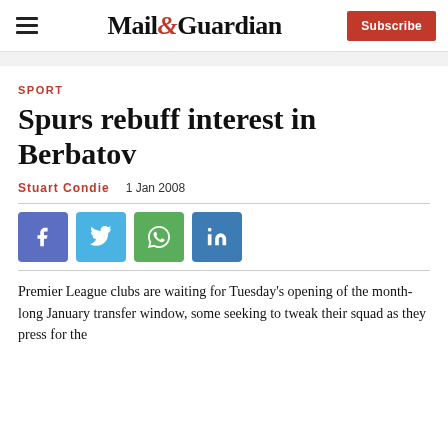Mail&Guardian — Subscribe
SPORT
Spurs rebuff interest in Berbatov
Stuart Condie   1 Jan 2008
[Figure (other): Social sharing buttons: Facebook, Twitter, WhatsApp, LinkedIn]
Premier League clubs are waiting for Tuesday's opening of the month-long January transfer window, some seeking to tweak their squad as they press for the